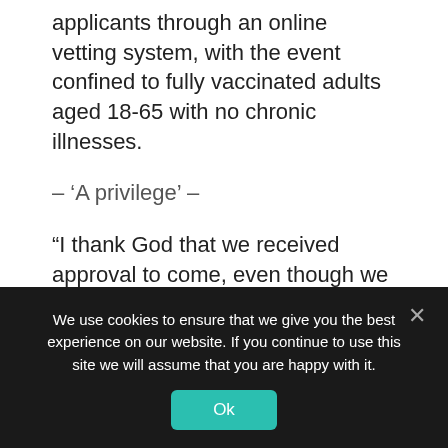applicants through an online vetting system, with the event confined to fully vaccinated adults aged 18-65 with no chronic illnesses.
– 'A privilege' –
“I thank God that we received approval to come, even though we did not expect it because of the small number of pilgrims,” said Abdulaziz bin Mahmoud, an 18-year-old Saudi.
Saddaf Ghafour, a 40-year-old Pakistani travelling with her friend, was among the women making the pilgrimage without a male “guardian”, a
We use cookies to ensure that we give you the best experience on our website. If you continue to use this site we will assume that you are happy with it.